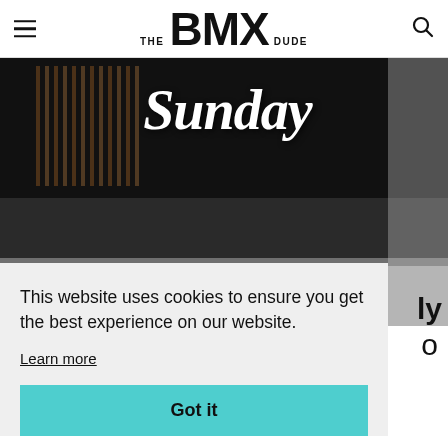THE BMX DUDE
[Figure (photo): Dark interior photo showing a 'Sunday' logo sign in white cursive lettering on a dark background with vertical metallic stripes, with a shelf/counter visible at the bottom]
This website uses cookies to ensure you get the best experience on our website.
Learn more
Got it